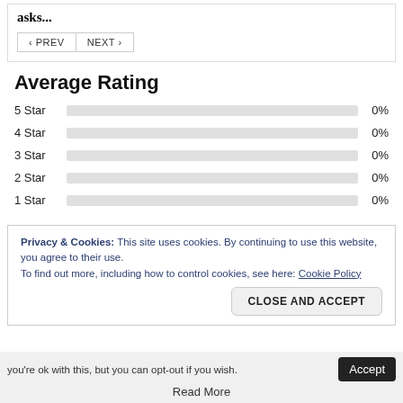asks...
< PREV   NEXT >
Average Rating
[Figure (bar-chart): Average Rating]
Privacy & Cookies: This site uses cookies. By continuing to use this website, you agree to their use.
To find out more, including how to control cookies, see here: Cookie Policy
CLOSE AND ACCEPT
you're ok with this, but you can opt-out if you wish.
Accept
Read More